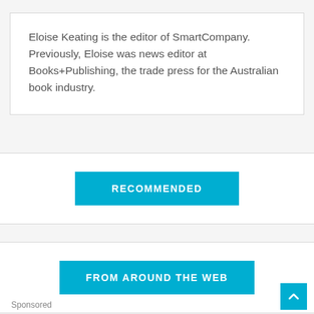Eloise Keating is the editor of SmartCompany. Previously, Eloise was news editor at Books+Publishing, the trade press for the Australian book industry.
RECOMMENDED
FROM AROUND THE WEB
Sponsored